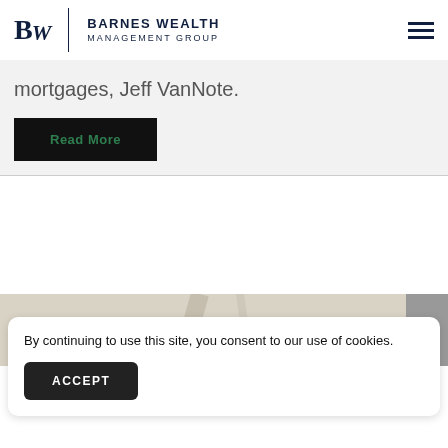Barnes Wealth Management Group
mortgages, Jeff VanNote.
Read More
By continuing to use this site, you consent to our use of cookies.
ACCEPT